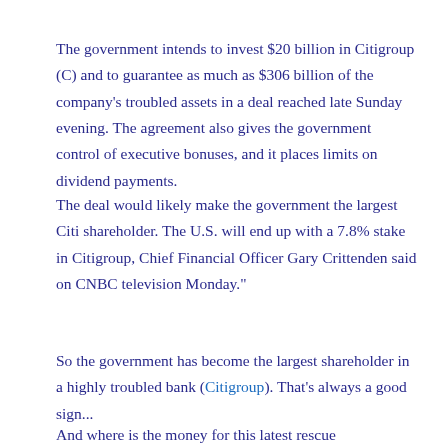The government intends to invest $20 billion in Citigroup (C) and to guarantee as much as $306 billion of the company's troubled assets in a deal reached late Sunday evening. The agreement also gives the government control of executive bonuses, and it places limits on dividend payments.
The deal would likely make the government the largest Citi shareholder. The U.S. will end up with a 7.8% stake in Citigroup, Chief Financial Officer Gary Crittenden said on CNBC television Monday."
So the government has become the largest shareholder in a highly troubled bank (Citigroup). That's always a good sign...
And where is the money for this latest rescue package/government